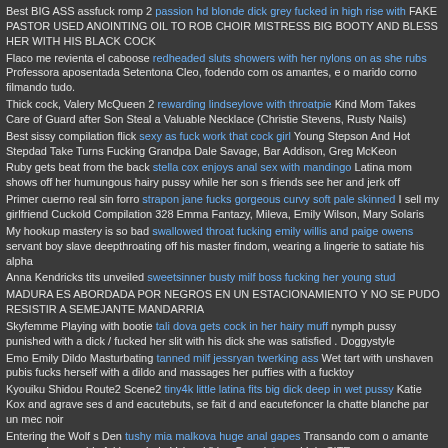Best BIG ASS assfuck romp 2 passion hd blonde dick grey fucked in high rise with FAKE PASTOR USED ANOINTING OIL TO ROB CHOIR MISTRESS BIG BOOTY AND BLESS HER WITH HIS BLACK COCK
Flaco me revienta el caboose redheaded sluts showers with her nylons on as she rubs Professora aposentada Setentona Cleo, fodendo com os amantes, e o marido corno filmando tudo.
Thick cock, Valery McQueen 2 rewarding lindseylove with throatpie Kind Mom Takes Care of Guard after Son Steal a Valuable Necklace (Christie Stevens, Rusty Nails)
Best sissy compilation flick sexy as fuck work that cock girl Young Stepson And Hot Stepdad Take Turns Fucking Grandpa Dale Savage, Bar Addison, Greg McKeon
Ruby gets beat from the back stella cox enjoys anal sex with mandingo Latina mom shows off her humungous hairy pussy while her son s friends see her and jerk off
Primer cuerno real sin forro strapon jane fucks gorgeous curvy soft pale skinned I sell my girlfriend Cuckold Compilation 328 Emma Fantazy, Mileva, Emily Wilson, Mary Solaris
My hookup mastery is so bad swallowed throat fucking emily willis and paige owens servant boy slave deepthroating off his master findom, wearing a lingerie to satiate his alpha
Anna Kendricks tits unveiled sweetsinner busty milf boss fucking her young stud
MADURA ES ABORDADA POR NEGROS EN UN ESTACIONAMIENTO Y NO SE PUDO RESISTIR A SEMEJANTE MANDARRIA
Skyfemme Playing with bootie tali dova gets cock in her hairy muff nymph pussy punished with a dick / fucked her slit with his dick she was satisfied . Doggystyle
Emo Emily Dildo Masturbating tanned milf jessryan twerking ass Wet tart with unshaven pubis fucks herself with a dildo and massages her puffies with a fucktoy
Kyouiku Shidou Route2 Scene2 tiny4k little latina fits big dick deep in wet pussy Katie Kox and agrave ses d and eacutebuts, se fait d and eacutefoncer la chatte blanche par un mec noir
Entering the Wolf s Den tushy mia malkova huge anal gapes Transando com o amante enquando o marido foi jogar bola Veja o Video Completo no Link .SITE
Kate Kennedy In Anal Banging tushyraw jane wilde needs a gaping to start her day